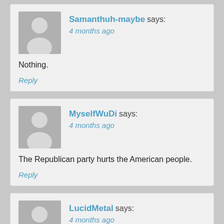Samanthuh-maybe says: 4 months ago
Nothing.
Reply
MyselfWuDi says: 4 months ago
The Republican party hurts the American people.
Reply
LucidMetal says: 4 months ago
Well technically the Bush congress did